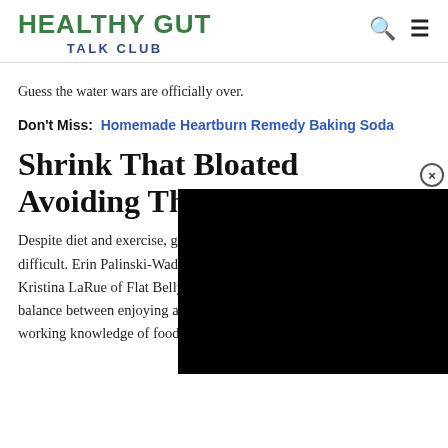HEALTHY GUT TALK CLUB
Guess the water wars are officially over.
Don't Miss:  Homemade Heartburn Remedy Baking Soda
Shrink That Bloated Belly By Avoiding These Pi…
[Figure (other): Black video overlay with close button]
Despite diet and exercise, getting rid of fat around the waistline can be difficult. Erin Palinski-Wade, co-author along with Tara Gidus and Kristina LaRue of Flat Belly Cookbook For Dummies, says, There is a balance between enjoying and overindulging, and it begins with a working knowledge of foods and drinks that are, and arent,